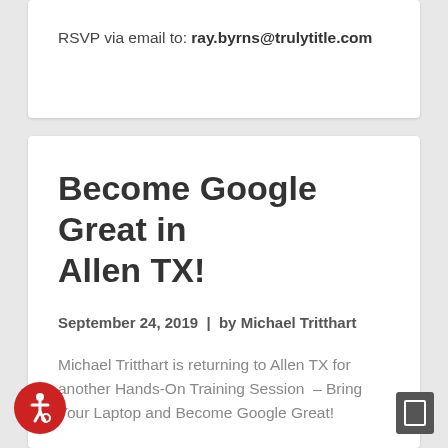RSVP via email to: ray.byrns@trulytitle.com
Become Google Great in Allen TX!
September 24, 2019  |  by Michael Tritthart
Michael Tritthart is returning to Allen TX for another Hands-On Training Session  – Bring Your Laptop and Become Google Great!
Sponsored by Fair Texas Title, this session could put your site on the 1st page of your desired search within weeks, using free tools from Google and strategies that have proven...